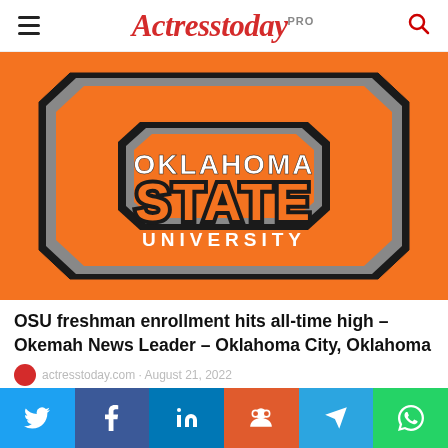Actresstoday PRO
[Figure (logo): Oklahoma State University logo — large orange interlocking OSU letter mark with 'OKLAHOMA STATE UNIVERSITY' text on orange background]
OSU freshman enrollment hits all-time high – Okemah News Leader – Oklahoma City, Oklahoma